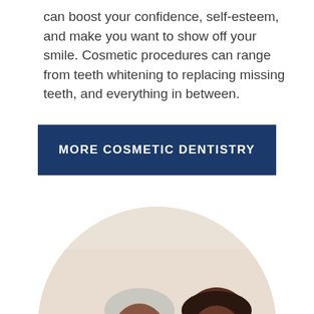can boost your confidence, self-esteem, and make you want to show off your smile. Cosmetic procedures can range from teeth whitening to replacing missing teeth, and everything in between.
MORE COSMETIC DENTISTRY
[Figure (photo): A group of four smiling African American adults (two older adults in the back, two younger adults in the front) shown in a circular cropped photo.]